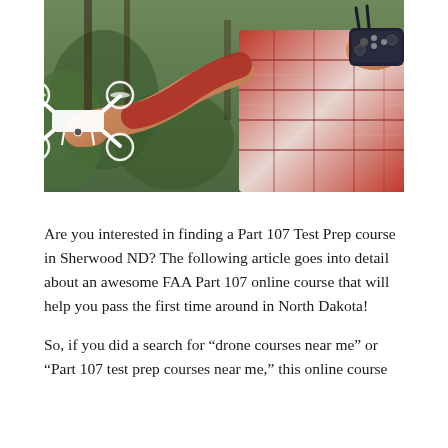[Figure (photo): A person wearing a red plaid flannel shirt holding a small white quadcopter drone in one outstretched hand and a remote controller in the other hand, outdoors with green foliage in the background.]
Are you interested in finding a Part 107 Test Prep course in Sherwood ND? The following article goes into detail about an awesome FAA Part 107 online course that will help you pass the first time around in North Dakota!
So, if you did a search for “drone courses near me” or “Part 107 test prep courses near me,” this online course